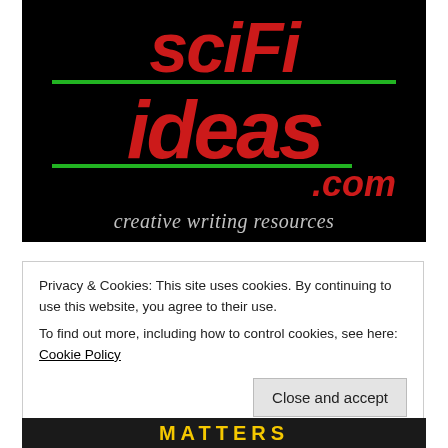[Figure (logo): SciFi-Ideas.com logo on black background with red italic text 'scifi' and 'ideas' separated by green horizontal lines, '.com' in red italic, tagline 'creative writing resources' in gray italic below]
Privacy & Cookies: This site uses cookies. By continuing to use this website, you agree to their use.
To find out more, including how to control cookies, see here: Cookie Policy
Close and accept
[Figure (other): Bottom banner showing 'MATTERS' text in yellow on dark background]